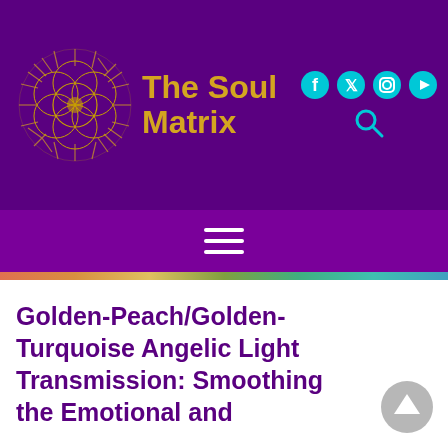The Soul Matrix
Golden-Peach/Golden-Turquoise Angelic Light Transmission: Smoothing the Emotional and